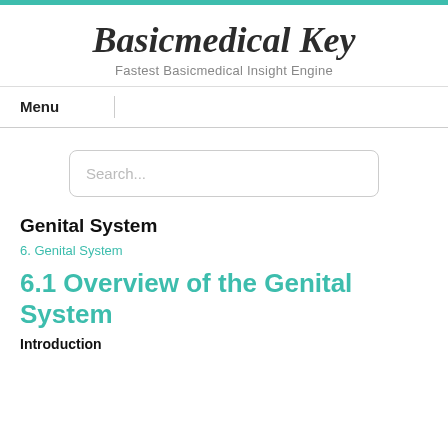Basicmedical Key
Fastest Basicmedical Insight Engine
Menu
Search...
Genital System
6. Genital System
6.1 Overview of the Genital System
Introduction